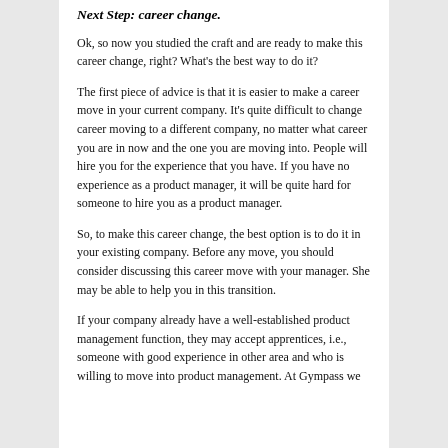Next Step: career change.
Ok, so now you studied the craft and are ready to make this career change, right? What's the best way to do it?
The first piece of advice is that it is easier to make a career move in your current company. It's quite difficult to change career moving to a different company, no matter what career you are in now and the one you are moving into. People will hire you for the experience that you have. If you have no experience as a product manager, it will be quite hard for someone to hire you as a product manager.
So, to make this career change, the best option is to do it in your existing company. Before any move, you should consider discussing this career move with your manager. She may be able to help you in this transition.
If your company already have a well-established product management function, they may accept apprentices, i.e., someone with good experience in other area and who is willing to move into product management. At Gympass we